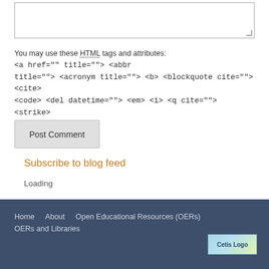You may use these HTML tags and attributes: <a href="" title=""> <abbr title=""> <acronym title=""> <b> <blockquote cite=""> <cite> <code> <del datetime=""> <em> <i> <q cite=""> <strike> <strong>
Post Comment
Subscribe to blog feed
Loading
Home   About   Open Educational Resources (OERs)   OERs and Libraries